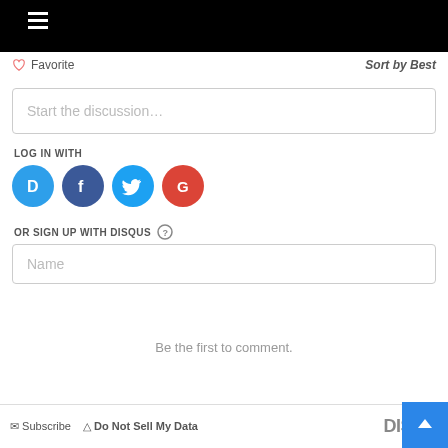[Figure (screenshot): Black navigation bar with hamburger menu icon]
Favorite
Sort by Best
Start the discussion…
LOG IN WITH
[Figure (infographic): Social login icons: Disqus (blue), Facebook (dark blue), Twitter (light blue), Google (red)]
OR SIGN UP WITH DISQUS ?
Name
Be the first to comment.
Subscribe   Do Not Sell My Data   DISQUS
[Figure (other): Blue scroll-to-top button with up arrow]